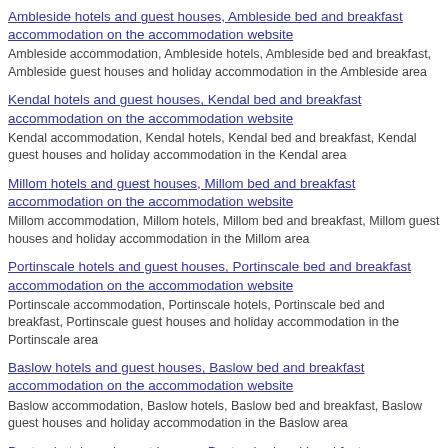Ambleside hotels and guest houses, Ambleside bed and breakfast accommodation on the accommodation website
Ambleside accommodation, Ambleside hotels, Ambleside bed and breakfast, Ambleside guest houses and holiday accommodation in the Ambleside area
Kendal hotels and guest houses, Kendal bed and breakfast accommodation on the accommodation website
Kendal accommodation, Kendal hotels, Kendal bed and breakfast, Kendal guest houses and holiday accommodation in the Kendal area
Millom hotels and guest houses, Millom bed and breakfast accommodation on the accommodation website
Millom accommodation, Millom hotels, Millom bed and breakfast, Millom guest houses and holiday accommodation in the Millom area
Portinscale hotels and guest houses, Portinscale bed and breakfast accommodation on the accommodation website
Portinscale accommodation, Portinscale hotels, Portinscale bed and breakfast, Portinscale guest houses and holiday accommodation in the Portinscale area
Baslow hotels and guest houses, Baslow bed and breakfast accommodation on the accommodation website
Baslow accommodation, Baslow hotels, Baslow bed and breakfast, Baslow guest houses and holiday accommodation in the Baslow area
Buxton hotels and guest houses, Buxton bed and breakfast accommodation on the accommodation website